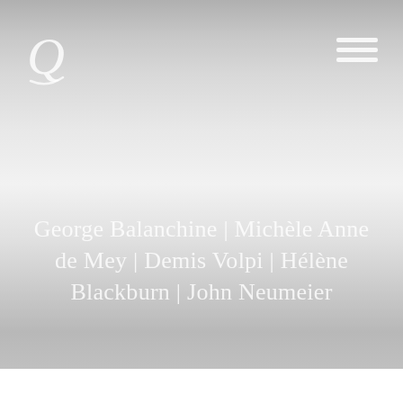[Figure (illustration): Website screenshot showing a gradient grey background with a white Q logo (with decorative swash) in the top left, a hamburger menu icon (three horizontal lines) in the top right, and centered text listing choreographers/artists names at the bottom of the image area.]
George Balanchine | Michèle Anne de Mey | Demis Volpi | Hélène Blackburn | John Neumeier